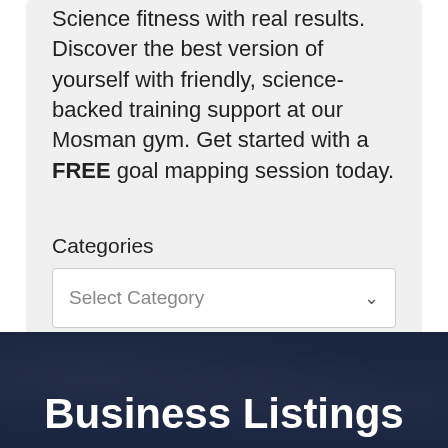Science fitness with real results. Discover the best version of yourself with friendly, science-backed training support at our Mosman gym. Get started with a FREE goal mapping session today.
Categories
Select Category
Business Listings